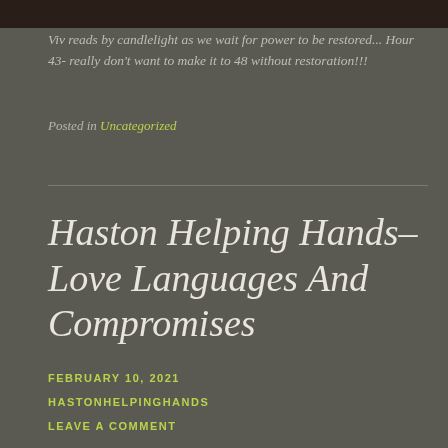[Figure (photo): Dark photo strip at top of page, showing a dark brownish scene (candlelight reading scene, partially cropped)]
Viv reads by candlelight as we wait for power to be restored... Hour 43- really don't want to make it to 48 without restoration!!!
Posted in Uncategorized
Haston Helping Hands– Love Languages And Compromises
FEBRUARY 10, 2021
HASTONHELPINGHANDS
LEAVE A COMMENT